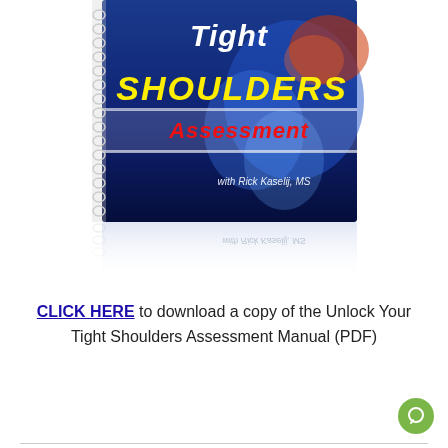[Figure (illustration): Spiral-bound book cover titled 'Tight SHOULDERS Assessment' by Rick Kaselij, MS, with blue anatomical shoulder imagery and yellow/red text on the cover, shown with a reflection below.]
CLICK HERE to download a copy of the Unlock Your Tight Shoulders Assessment Manual (PDF)